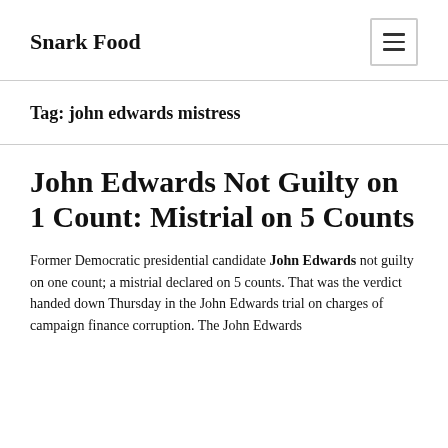Snark Food
Tag: john edwards mistress
John Edwards Not Guilty on 1 Count: Mistrial on 5 Counts
Former Democratic presidential candidate John Edwards not guilty on one count; a mistrial declared on 5 counts. That was the verdict handed down Thursday in the John Edwards trial on charges of campaign finance corruption. The John Edwards...